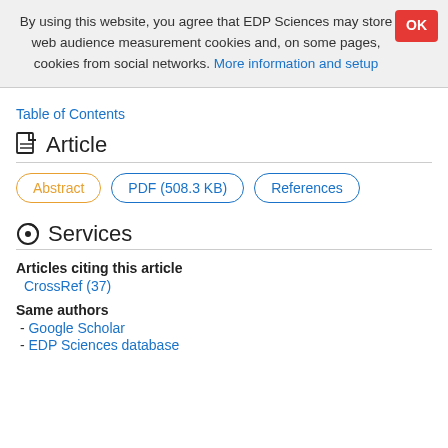By using this website, you agree that EDP Sciences may store web audience measurement cookies and, on some pages, cookies from social networks. More information and setup
Table of Contents
Article
Abstract | PDF (508.3 KB) | References
Services
Articles citing this article
CrossRef (37)
Same authors
- Google Scholar
- EDP Sciences database